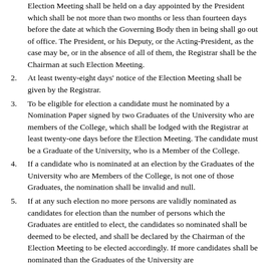Election Meeting shall be held on a day appointed by the President which shall be not more than two months or less than fourteen days before the date at which the Governing Body then in being shall go out of office. The President, or his Deputy, or the Acting-President, as the case may be, or in the absence of all of them, the Registrar shall be the Chairman at such Election Meeting.
2. At least twenty-eight days' notice of the Election Meeting shall be given by the Registrar.
3. To be eligible for election a candidate must he nominated by a Nomination Paper signed by two Graduates of the University who are members of the College, which shall be lodged with the Registrar at least twenty-one days before the Election Meeting. The candidate must be a Graduate of the University, who is a Member of the College.
4. If a candidate who is nominated at an election by the Graduates of the University who are Members of the College, is not one of those Graduates, the nomination shall be invalid and null.
5. If at any such election no more persons are validly nominated as candidates for election than the number of persons which the Graduates are entitled to elect, the candidates so nominated shall be deemed to be elected, and shall be declared by the Chairman of the Election Meeting to be elected accordingly. If more candidates shall be nominated than the Graduates of the University are